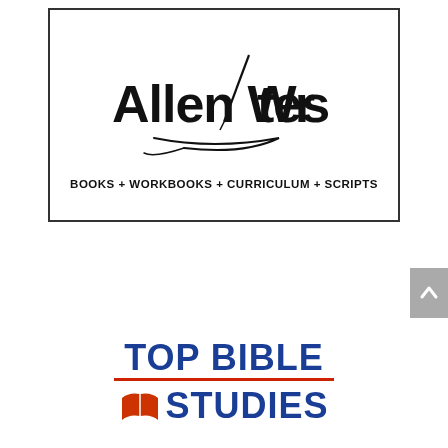[Figure (logo): Allen Writes logo in a bordered box. Shows 'Allen Writes' in bold black text with a fountain pen replacing the 'i', and a pen stroke underline. Below: 'BOOKS + WORKBOOKS + CURRICULUM + SCRIPTS' in bold black capitals.]
[Figure (logo): Top Bible Studies logo — 'TOP BIBLE' in bold blue, a red open book icon, and 'STUDIES' in bold blue, partially visible at bottom of page.]